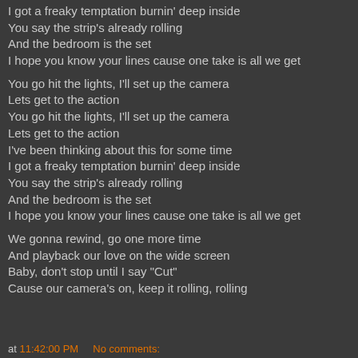I got a freaky temptation burnin' deep inside
You say the strip's already rolling
And the bedroom is the set
I hope you know your lines cause one take is all we get
You go hit the lights, I'll set up the camera
Lets get to the action
You go hit the lights, I'll set up the camera
Lets get to the action
I've been thinking about this for some time
I got a freaky temptation burnin' deep inside
You say the strip's already rolling
And the bedroom is the set
I hope you know your lines cause one take is all we get
We gonna rewind, go one more time
And playback our love on the wide screen
Baby, don't stop until I say "Cut"
Cause our camera's on, keep it rolling, rolling
at 11:42:00 PM    No comments: